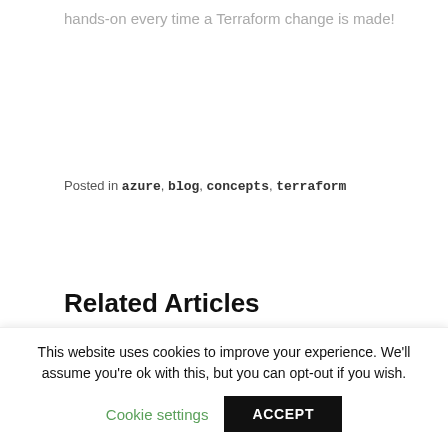hands-on every time a Terraform change is made!
Posted in azure, blog, concepts, terraform
Related Articles
[Figure (photo): Dark aerial or industrial image showing workers in orange helmets viewed from above on a dark surface with cracks]
This website uses cookies to improve your experience. We'll assume you're ok with this, but you can opt-out if you wish.
Cookie settings   ACCEPT